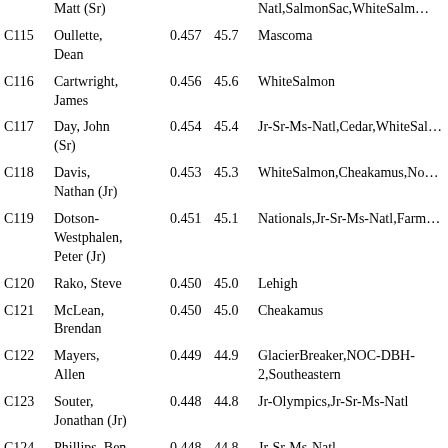| ID | Name | Val1 | Val2 | Events |
| --- | --- | --- | --- | --- |
|  | Matt (Sr) |  |  | Natl,SalmonSac,WhiteSalm… |
| C115 | Oullette, Dean | 0.457 | 45.7 | Mascoma |
| C116 | Cartwright, James | 0.456 | 45.6 | WhiteSalmon |
| C117 | Day, John (Sr) | 0.454 | 45.4 | Jr-Sr-Ms-Natl,Cedar,WhiteSa… |
| C118 | Davis, Nathan (Jr) | 0.453 | 45.3 | WhiteSalmon,Cheakamus,No… |
| C119 | Dotson-Westphalen, Peter (Jr) | 0.451 | 45.1 | Nationals,Jr-Sr-Ms-Natl,Farm… |
| C120 | Rako, Steve | 0.450 | 45.0 | Lehigh |
| C121 | McLean, Brendan | 0.450 | 45.0 | Cheakamus |
| C122 | Mayers, Allen | 0.449 | 44.9 | GlacierBreaker,NOC-DBH-2,Southeastern |
| C123 | Souter, Jonathan (Jr) | 0.448 | 44.8 | Jr-Olympics,Jr-Sr-Ms-Natl |
| C124 | Phillips, Ben (Jr) | 0.448 | 44.8 | Jr-Sr-Ms-Natl |
| C125 | Seeley, Palmer (Jr) | 0.447 | 44.7 | Riversport,Lehigh,Codorus |